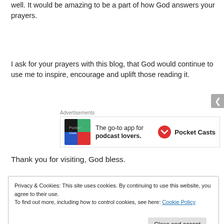well. It would be amazing to be a part of how God answers your prayers.
I ask for your prayers with this blog, that God would continue to use me to inspire, encourage and uplift those reading it.
[Figure (infographic): Pocket Casts advertisement: logo on left, text 'The go-to app for podcast lovers.' in center, Pocket Casts logo and name on right]
Thank you for visiting, God bless.
Privacy & Cookies: This site uses cookies. By continuing to use this website, you agree to their use.
To find out more, including how to control cookies, see here: Cookie Policy